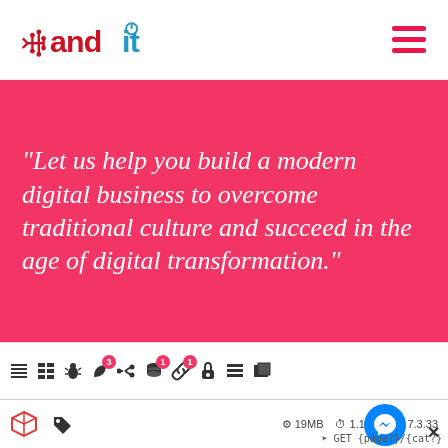[Figure (logo): AND IT company logo — red circuit-style icon with 'and' in red bold text and 'it' in blue bold text]
[Figure (infographic): Pink banner with italic white quote text]
"Let us help you build a modern digital business to overcome traditional culture and succeed in the age of digital transformation."
[Figure (screenshot): WordPress/Laravel debug toolbar with icons and badges showing counts 3, 1, 1; stats showing 19MB, 1.19s, 7.3.33; GET {page?}/{cat?} route; Messenger chat button]